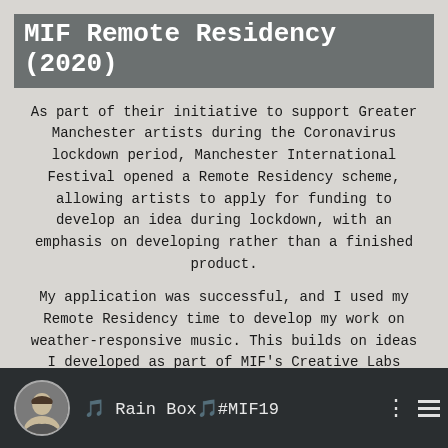MIF Remote Residency (2020)
As part of their initiative to support Greater Manchester artists during the Coronavirus lockdown period, Manchester International Festival opened a Remote Residency scheme, allowing artists to apply for funding to develop an idea during lockdown, with an emphasis on developing rather than a finished product.
My application was successful, and I used my Remote Residency time to develop my work on weather-responsive music. This builds on ideas I developed as part of MIF’s Creative Labs programme in 2019 with my piece Rain Box. This was a perspex cube with sensors inside it to detect when it was hit by rain. Each time a rain drop hit it, the box played a bell sound and a recording of a Manchester resident saying their own name.
[Figure (screenshot): Video thumbnail showing a circular avatar portrait of a person smiling, with text '🎵 Rain Box🎵#MIF19' on a dark background, with a menu icon on the right.]